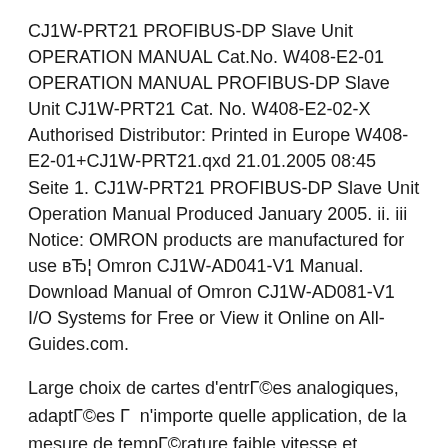CJ1W-PRT21 PROFIBUS-DP Slave Unit OPERATION MANUAL Cat.No. W408-E2-01 OPERATION MANUAL PROFIBUS-DP Slave Unit CJ1W-PRT21 Cat. No. W408-E2-02-X Authorised Distributor: Printed in Europe W408-E2-01+CJ1W-PRT21.qxd 21.01.2005 08:45 Seite 1. CJ1W-PRT21 PROFIBUS-DP Slave Unit Operation Manual Produced January 2005. ii. iii Notice: OMRON products are manufactured for use вЂ¦ Omron CJ1W-AD041-V1 Manual. Download Manual of Omron CJ1W-AD081-V1 I/O Systems for Free or View it Online on All-Guides.com.
Large choix de cartes d'entrГ©es analogiques, adaptГ©es Г  n'importe quelle application, de la mesure de tempГ©rature faible vitesse et